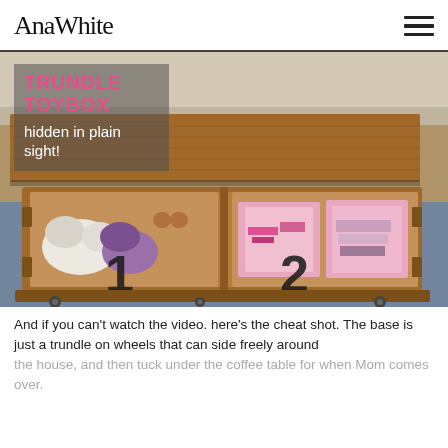AnaWhite [hamburger menu icon]
[Figure (photo): A wooden trundle toy box on wheels pulled out from under a coffee table. The box is divided into two sections labeled '1' and '2' in large black stencil numbers, filled with stuffed animals and fabric storage bins. Overlay text reads 'TRUNDLE TOYBOX hidden in plain sight!']
And if you can't watch the video. here's the cheat shot. The base is just a trundle on wheels that can side freely around the house, and then tuck under the coffee table for when Mom comes over.